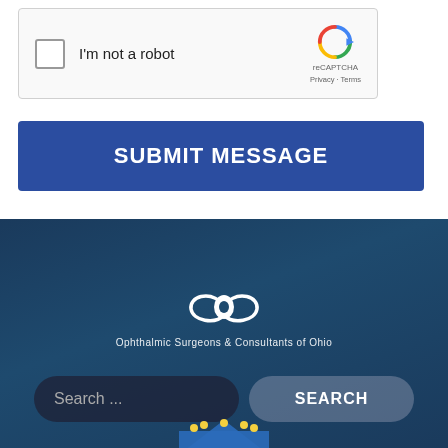[Figure (screenshot): reCAPTCHA widget with checkbox labeled 'I'm not a robot' and reCAPTCHA logo with Privacy and Terms links]
SUBMIT MESSAGE
[Figure (screenshot): Footer section with dark blue gradient background, Ophthalmic Surgeons & Consultants of Ohio logo (eye icon), search bar with 'Search ...' placeholder and SEARCH button, and partial logo at bottom]